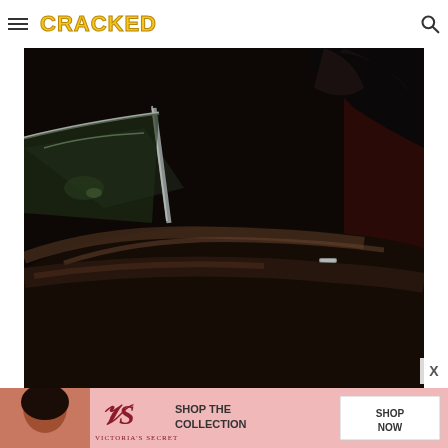CRACKED
[Figure (photo): Close-up photograph of a dark vintage car, taken from the side showing the roof, window frame, and body panel. A figure in black clothing is partially visible in the background. The scene is dark and moody.]
[Figure (photo): Victoria's Secret advertisement banner showing a woman with curly hair, the Victoria's Secret logo, and text reading SHOP THE COLLECTION with a SHOP NOW button.]